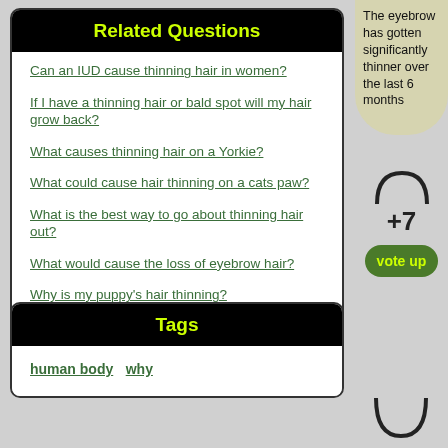Related Questions
Can an IUD cause thinning hair in women?
If I have a thinning hair or bald spot will my hair grow back?
What causes thinning hair on a Yorkie?
What could cause hair thinning on a cats paw?
What is the best way to go about thinning hair out?
What would cause the loss of eyebrow hair?
Why is my puppy's hair thinning?
Tags
human body  why
The eyebrow has gotten significantly thinner over the last 6 months